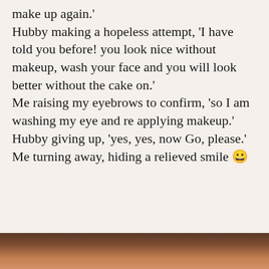make up again.' Hubby making a hopeless attempt, 'I have told you before! you look nice without makeup, wash your face and you will look better without the cake on.' Me raising my eyebrows to confirm, 'so I am washing my eye and re applying makeup.' Hubby giving up, 'yes, yes, now Go, please.' Me turning away, hiding a relieved smile 😀
[Figure (photo): A close-up photo strip at the bottom of the page showing a brown/earth-toned textured surface.]